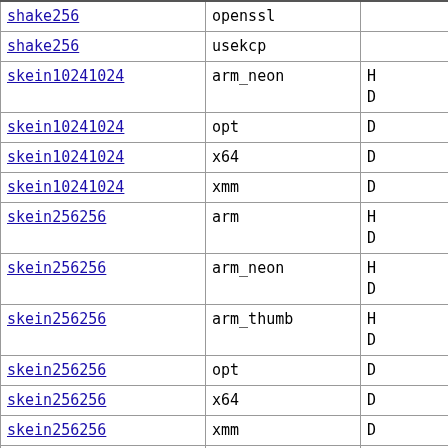|  |  |  |
| --- | --- | --- |
| shake256 | openssl |  |
| shake256 | usekcp |  |
| skein10241024 | arm_neon | H D |
| skein10241024 | opt | D |
| skein10241024 | x64 | D |
| skein10241024 | xmm | D |
| skein256256 | arm | H D |
| skein256256 | arm_neon | H D |
| skein256256 | arm_thumb | H D |
| skein256256 | opt | D |
| skein256256 | x64 | D |
| skein256256 | xmm | D |
| skein512256 | arm | H D |
| skein512256 | ... | P |